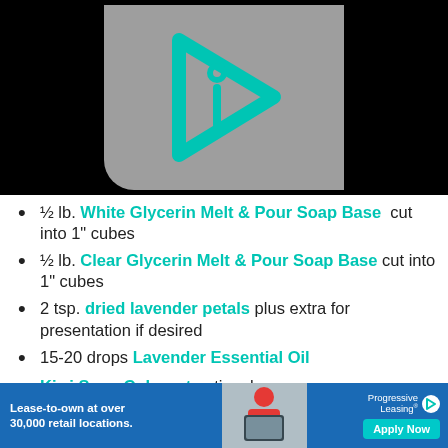[Figure (logo): Cyan/teal play button icon with letter i inside, on gray rounded background, on black banner]
½ lb. White Glycerin Melt & Pour Soap Base cut into 1" cubes
½ lb. Clear Glycerin Melt & Pour Soap Base cut into 1" cubes
2 tsp. dried lavender petals plus extra for presentation if desired
15-20 drops Lavender Essential Oil
Kiwi Soap Colorant optional
Lavender Soap Colorant optional
[Figure (photo): Progressive Leasing advertisement with lease-to-own text, child with tablet photo, and Apply Now button]